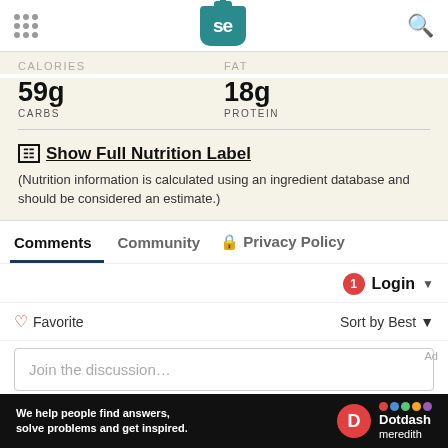Serious Eats logo, navigation dots, search icon
CALORIES | FAT
59g CARBS | 18g PROTEIN
📋 Show Full Nutrition Label
(Nutrition information is calculated using an ingredient database and should be considered an estimate.)
Comments  Community  🔒 Privacy Policy
🔴1  Login ▾
♡ Favorite    Sort by Best ▾
Join the discussion…   Ad
[Figure (screenshot): Dotdash Meredith ad banner: 'We help people find answers, solve problems and get inspired.' with D logo and colorful Dotdash Meredith branding]